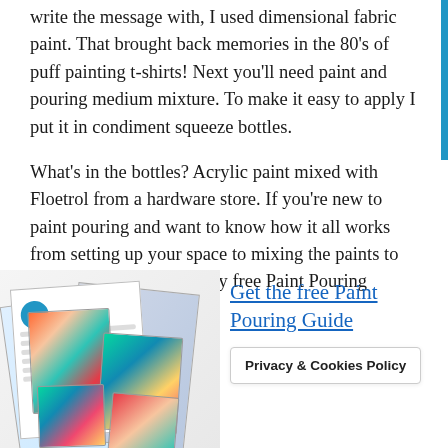write the message with, I used dimensional fabric paint. That brought back memories in the 80’s of puff painting t-shirts! Next you’ll need paint and pouring medium mixture. To make it easy to apply I put it in condiment squeeze bottles.

What’s in the bottles? Acrylic paint mixed with Floetrol from a hardware store. If you’re new to paint pouring and want to know how it all works from setting up your space to mixing the paints to making pours, then get my free Paint Pouring Guide.
[Figure (photo): Stack of papers/guides with colorful paint pouring artwork images, a white document page with a blue circle logo, and small colorful painted artwork photos]
Get the free Paint Pouring Guide
Privacy & Cookies Policy